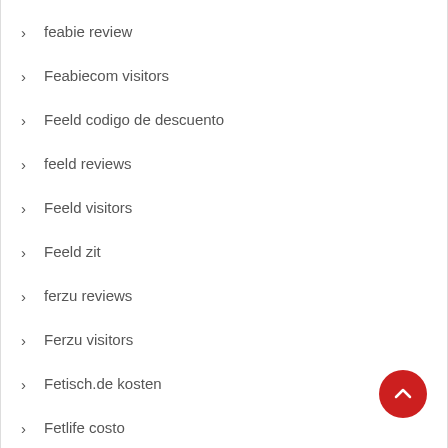feabie review
Feabiecom visitors
Feeld codigo de descuento
feeld reviews
Feeld visitors
Feeld zit
ferzu reviews
Ferzu visitors
Fetisch.de kosten
Fetlife costo
Fetlife free dating
Fetlife funziona in italia
fetlife review
fetlife visitors
filipinli-tarihleme promosyon kodu